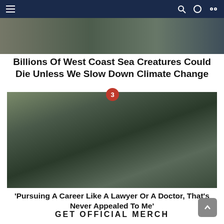Navigation bar with menu icon and search/cart icons
[Figure (photo): Top strip showing partial outdoor scene images]
Billions Of West Coast Sea Creatures Could Die Unless We Slow Down Climate Change
[Figure (photo): Three people smiling with arms around each other at an outdoor event. The person on the left has red hair and wears a black t-shirt. The person in the middle is larger wearing a black t-shirt with a lanyard. The person on the right wears glasses and a black t-shirt. A badge with the number 3 is overlaid on the top center of the image.]
'Pursuing A Career Like A Lawyer Or A Doctor, That's Never Appealed To Me'
GET OFFICIAL MERCH